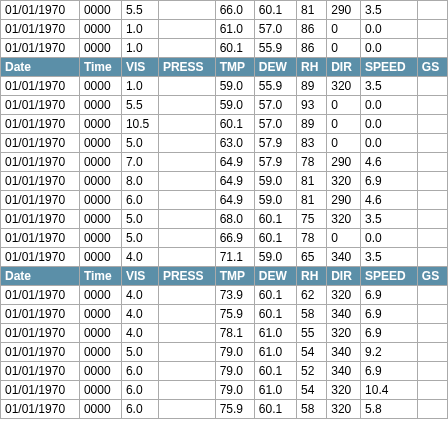| Date | Time | VIS | PRESS | TMP | DEW | RH | DIR | SPEED | GS |
| --- | --- | --- | --- | --- | --- | --- | --- | --- | --- |
| 01/01/1970 | 0000 | 5.5 |  | 66.0 | 60.1 | 81 | 290 | 3.5 |  |
| 01/01/1970 | 0000 | 1.0 |  | 61.0 | 57.0 | 86 | 0 | 0.0 |  |
| 01/01/1970 | 0000 | 1.0 |  | 60.1 | 55.9 | 86 | 0 | 0.0 |  |
| Date | Time | VIS | PRESS | TMP | DEW | RH | DIR | SPEED | GS |
| 01/01/1970 | 0000 | 1.0 |  | 59.0 | 55.9 | 89 | 320 | 3.5 |  |
| 01/01/1970 | 0000 | 5.5 |  | 59.0 | 57.0 | 93 | 0 | 0.0 |  |
| 01/01/1970 | 0000 | 10.5 |  | 60.1 | 57.0 | 89 | 0 | 0.0 |  |
| 01/01/1970 | 0000 | 5.0 |  | 63.0 | 57.9 | 83 | 0 | 0.0 |  |
| 01/01/1970 | 0000 | 7.0 |  | 64.9 | 57.9 | 78 | 290 | 4.6 |  |
| 01/01/1970 | 0000 | 8.0 |  | 64.9 | 59.0 | 81 | 320 | 6.9 |  |
| 01/01/1970 | 0000 | 6.0 |  | 64.9 | 59.0 | 81 | 290 | 4.6 |  |
| 01/01/1970 | 0000 | 5.0 |  | 68.0 | 60.1 | 75 | 320 | 3.5 |  |
| 01/01/1970 | 0000 | 5.0 |  | 66.9 | 60.1 | 78 | 0 | 0.0 |  |
| 01/01/1970 | 0000 | 4.0 |  | 71.1 | 59.0 | 65 | 340 | 3.5 |  |
| Date | Time | VIS | PRESS | TMP | DEW | RH | DIR | SPEED | GS |
| 01/01/1970 | 0000 | 4.0 |  | 73.9 | 60.1 | 62 | 320 | 6.9 |  |
| 01/01/1970 | 0000 | 4.0 |  | 75.9 | 60.1 | 58 | 340 | 6.9 |  |
| 01/01/1970 | 0000 | 4.0 |  | 78.1 | 61.0 | 55 | 320 | 6.9 |  |
| 01/01/1970 | 0000 | 5.0 |  | 79.0 | 61.0 | 54 | 340 | 9.2 |  |
| 01/01/1970 | 0000 | 6.0 |  | 79.0 | 60.1 | 52 | 340 | 6.9 |  |
| 01/01/1970 | 0000 | 6.0 |  | 79.0 | 61.0 | 54 | 320 | 10.4 |  |
| 01/01/1970 | 0000 | 6.0 |  | 75.9 | 60.1 | 58 | 320 | 5.8 |  |